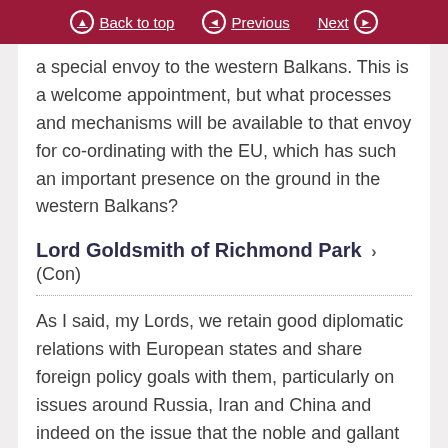Back to top  Previous  Next
a special envoy to the western Balkans. This is a welcome appointment, but what processes and mechanisms will be available to that envoy for co-ordinating with the EU, which has such an important presence on the ground in the western Balkans?
Lord Goldsmith of Richmond Park
(Con)
As I said, my Lords, we retain good diplomatic relations with European states and share foreign policy goals with them, particularly on issues around Russia, Iran and China and indeed on the issue that the noble and gallant Lord raises. The trade and co-operation agreement provides for